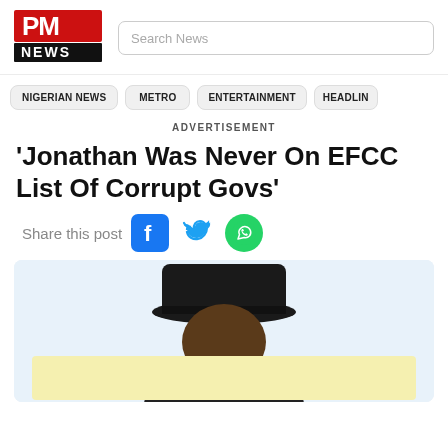[Figure (logo): PM NEWS logo — red PM letters, black NEWS block below]
Search News
NIGERIAN NEWS   METRO   ENTERTAINMENT   HEADLIN
ADVERTISEMENT
'Jonathan Was Never On EFCC List Of Corrupt Govs'
Share this post
[Figure (photo): Person wearing a black hat, with a yellow banner overlay at bottom, light blue background]